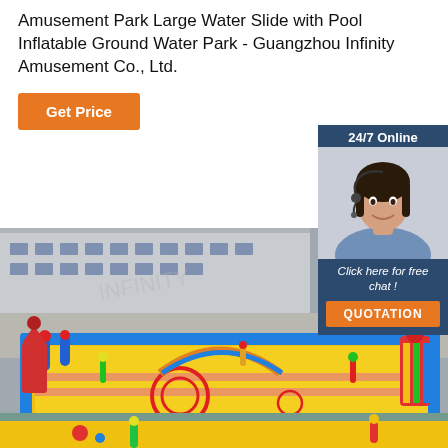Amusement Park Large Water Slide with Pool Inflatable Ground Water Park - Guangzhou Infinity Amusement Co., Ltd.
[Figure (other): Orange 'Get Price' button]
[Figure (other): 24/7 Online chat widget with female agent photo, 'Click here for free chat!' text, and orange QUOTATION button]
[Figure (photo): Aerial view of a large colorful inflatable water park ground setup with various inflatables, slides, and play structures, viewed from above near a building]